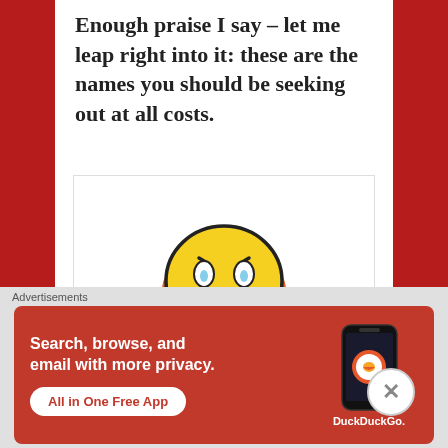Enough praise I say – let me leap right into it: these are the names you should be seeking out at all costs.
[Figure (illustration): A cartoon emoji-style character with a worried/distressed face, orange headphones or ear accessories, blue folded hands/arms, on a white background with the 'tinypic' logo below in colorful bubble letters.]
Advertisements
[Figure (screenshot): DuckDuckGo advertisement banner on orange-red background. Text reads: 'Search, browse, and email with more privacy. All in One Free App' with DuckDuckGo logo and phone image on the right.]